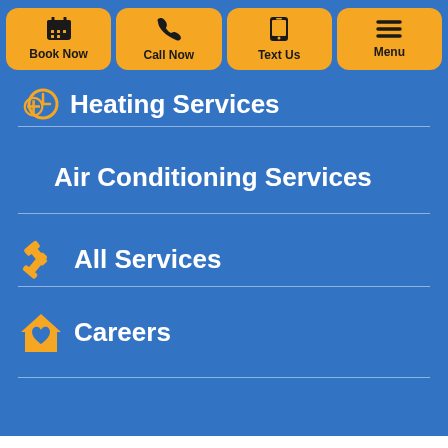[Figure (screenshot): Top navigation button bar with four orange rounded buttons: Book Now (calendar icon), Call Now (phone icon), Text Us (phone/text icon), Menu (hamburger icon)]
Heating Services
Air Conditioning Services
All Services
Careers